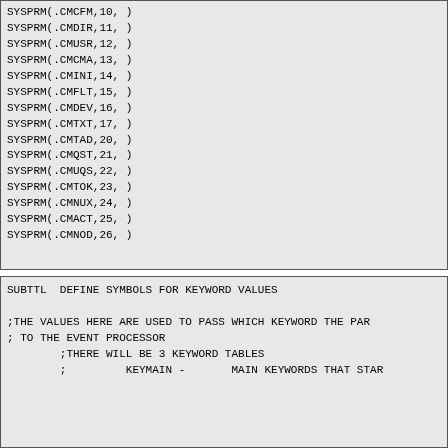SYSPRM(.CMCFM,10, )
SYSPRM(.CMDIR,11, )
SYSPRM(.CMUSR,12, )
SYSPRM(.CMCMA,13, )
SYSPRM(.CMINI,14, )
SYSPRM(.CMFLT,15, )
SYSPRM(.CMDEV,16, )
SYSPRM(.CMTXT,17, )
SYSPRM(.CMTAD,20, )
SYSPRM(.CMQST,21, )
SYSPRM(.CMUQS,22, )
SYSPRM(.CMTOK,23, )
SYSPRM(.CMNUX,24, )
SYSPRM(.CMACT,25, )
SYSPRM(.CMNOD,26, )


        ;DEFINE TAPE AND TTY FLAGS FOR DEVICE DESIGNATO

SYSPRM  DV%MTA,DV.MTA,.DVMTA     ;TAPE VALUE
SYSPRM  DV%TTY,DV.TTY,.DVTTY     ;TTY VALUE
SUBTTL  DEFINE SYMBOLS FOR KEYWORD VALUES

;THE VALUES HERE ARE USED TO PASS WHICH KEYWORD THE PAR
; TO THE EVENT PROCESSOR
        ;THERE WILL BE 3 KEYWORD TABLES
        ;         KEYMAIN -       MAIN KEYWORDS THAT STAR